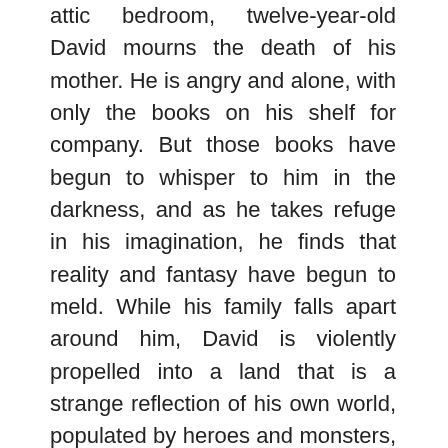attic bedroom, twelve-year-old David mourns the death of his mother. He is angry and alone, with only the books on his shelf for company. But those books have begun to whisper to him in the darkness, and as he takes refuge in his imagination, he finds that reality and fantasy have begun to meld. While his family falls apart around him, David is violently propelled into a land that is a strange reflection of his own world, populated by heroes and monsters, and ruled over by a faded king who keeps his secrets in a mysterious book… The Book of Lost Things. An imaginative tribute to the journey we must all make through the loss of innocence into adulthood, John Connolly's latest novel is a book for every adult who can recall the moment when childhood began to